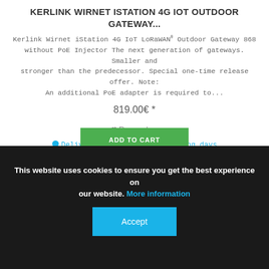KERLINK WIRNET ISTATION 4G IOT OUTDOOR GATEWAY...
Kerlink Wirnet iStation 4G IoT LoRaWAN® Outdoor Gateway 868 without PoE Injector The next generation of gateways. Smaller and stronger than the predecessor. Special one-time release offer. Note: An additional PoE adapter is required to...
819.00€ *
♥ Remember
● Delivery time appr. 3-5 working days
ADD TO CART
This website uses cookies to ensure you get the best experience on our website. More information
Accept